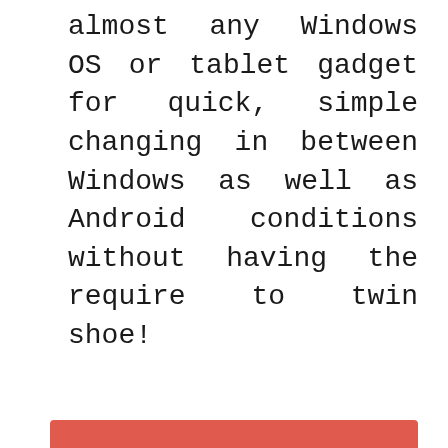almost any Windows OS or tablet gadget for quick, simple changing in between Windows as well as Android conditions without having the require to twin shoe!